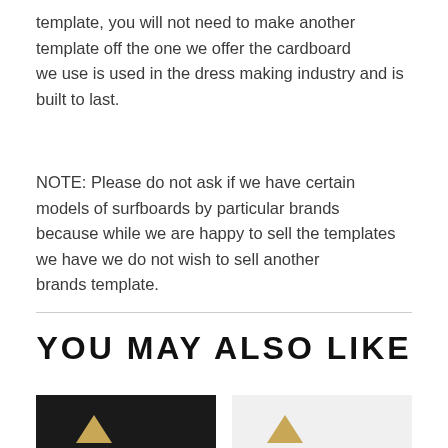template, you will not need to make another template off the one we offer the cardboard we use is used in the dress making industry and is built to last.
NOTE: Please do not ask if we have certain models of surfboards by particular brands because while we are happy to sell the templates we have we do not wish to sell another brands template.
YOU MAY ALSO LIKE
[Figure (photo): Bottom portion of a surfboard template product photo against dark background]
[Figure (photo): Bottom portion of a surfboard template product photo against light background]